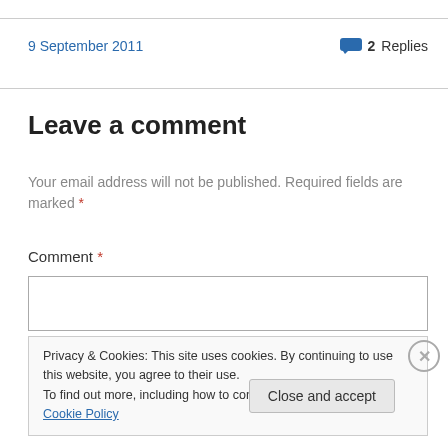9 September 2011
2 Replies
Leave a comment
Your email address will not be published. Required fields are marked *
Comment *
Privacy & Cookies: This site uses cookies. By continuing to use this website, you agree to their use. To find out more, including how to control cookies, see here: Cookie Policy
Close and accept